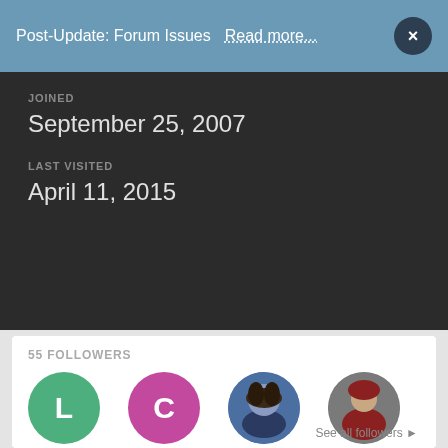Post-Update: Forum Issues   Read more...   ×
JOINED
September 25, 2007
LAST VISITED
April 11, 2015
55 FOLLOWERS
[Figure (other): Grid of 12 follower avatars: row 1: green circle L, pink circle C, photo of woman with curly hair, photo of red-hooded figure; row 2: night scene illustration, cat photo, anime blonde girl, dark figure illustration; row 3: drink glass photo, copper circle C, teal circle E, salmon circle H]
See all followers ▶